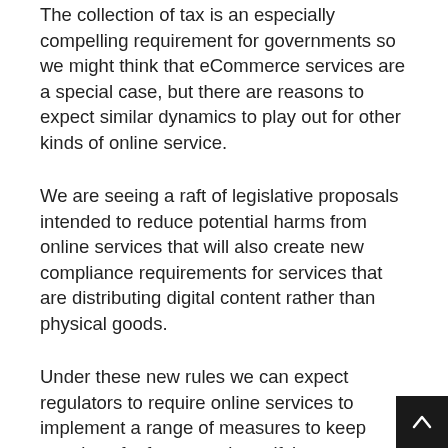The collection of tax is an especially compelling requirement for governments so we might think that eCommerce services are a special case, but there are reasons to expect similar dynamics to play out for other kinds of online service.
We are seeing a raft of legislative proposals intended to reduce potential harms from online services that will also create new compliance requirements for services that are distributing digital content rather than physical goods.
Under these new rules we can expect regulators to require online services to implement a range of measures to keep people safe, for example verifying user age before certain content can be shown, or using technology to identify and remove harmful content.